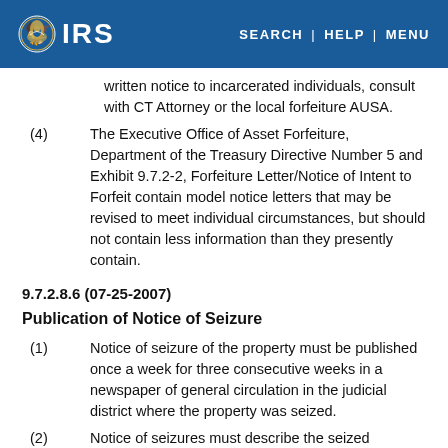IRS | SEARCH | HELP | MENU
written notice to incarcerated individuals, consult with CT Attorney or the local forfeiture AUSA.
(4) The Executive Office of Asset Forfeiture, Department of the Treasury Directive Number 5 and Exhibit 9.7.2-2, Forfeiture Letter/Notice of Intent to Forfeit contain model notice letters that may be revised to meet individual circumstances, but should not contain less information than they presently contain.
9.7.2.8.6 (07-25-2007)
Publication of Notice of Seizure
(1) Notice of seizure of the property must be published once a week for three consecutive weeks in a newspaper of general circulation in the judicial district where the property was seized.
(2) Notice of seizures must describe the seized